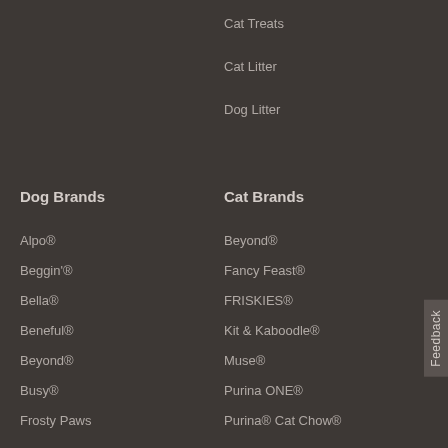Cat Treats
Cat Litter
Dog Litter
Dog Brands
Cat Brands
Alpo®
Beggin'®
Bella®
Beneful®
Beyond®
Busy®
Frosty Paws
Just Right®
Mighty Dog®
Moist & Meaty®
Purina ONE®
Beyond®
Fancy Feast®
FRISKIES®
Kit & Kaboodle®
Muse®
Purina ONE®
Purina® Cat Chow®
Purina® Pro Plan® Veterinary Diets
Purina® Pro Plan®
Tidy Cats®
Whisker Lickin's®